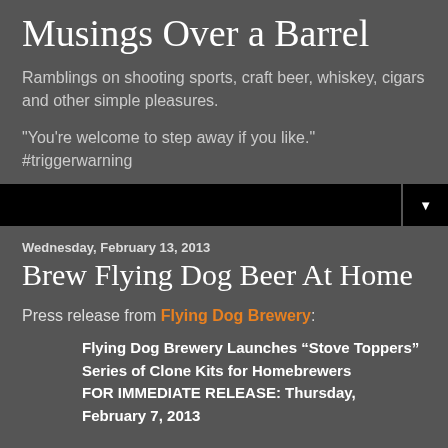Musings Over a Barrel
Ramblings on shooting sports, craft beer, whiskey, cigars and other simple pleasures.
"You're welcome to step away if you like." #triggerwarning
Home
Wednesday, February 13, 2013
Brew Flying Dog Beer At Home
Press release from Flying Dog Brewery:
Flying Dog Brewery Launches “Stove Toppers” Series of Clone Kits for Homebrewers FOR IMMEDIATE RELEASE: Thursday, February 7, 2013